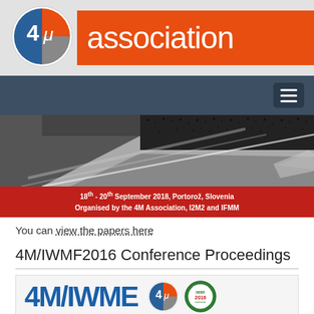[Figure (logo): 4mu Association logo - circle with '4' and mu symbol, orange and blue colors, with 'association' text on orange background]
[Figure (photo): Navigation bar with hamburger menu icon on dark blue/grey background]
[Figure (photo): SEM (scanning electron microscope) microscopy image of micro/nano structured material surface in black and white, with red banner below reading '18th - 20th September 2018, Portoroz, Slovenia / Organised by the 4M Association, I2M2 and IFMM']
You can view the papers here
4M/IWMF2016 Conference Proceedings
[Figure (logo): Bottom section showing '4M/IWME' text in large blue bold font with 4mu logo circle and IWMF 2016 circular badge]